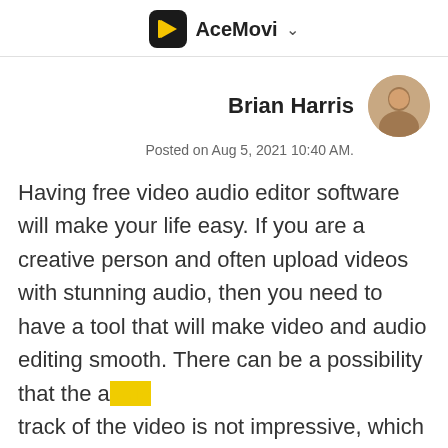AceMovi
Brian Harris
Posted on Aug 5, 2021 10:40 AM.
Having free video audio editor software will make your life easy. If you are a creative person and often upload videos with stunning audio, then you need to have a tool that will make video and audio editing smooth. There can be a possibility that the audio track of the video is not impressive, which means you may want to edit it or change it to another track that will represent your video in the best possible